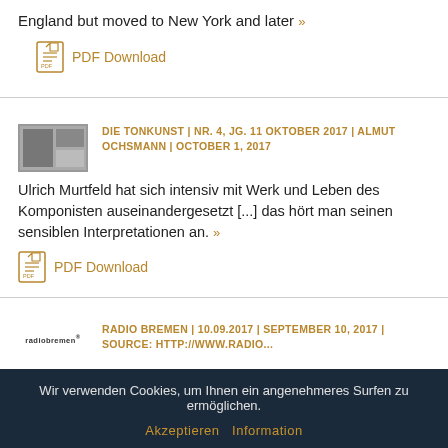England but moved to New York and later »
PDF Download
DIE TONKUNST | NR. 4, JG. 11 OKTOBER 2017 | ALMUT OCHSMANN | OCTOBER 1, 2017
Ulrich Murtfeld hat sich intensiv mit Werk und Leben des Komponisten auseinandergesetzt [...] das hört man seinen sensiblen Interpretationen an. »
PDF Download
RADIO BREMEN | 10.09.2017 | SEPTEMBER 10, 2017 | SOURCE: HTTP://WWW.RADIO...
Wir verwenden Cookies, um Ihnen ein angenehmeres Surfen zu ermöglichen.
Akzeptieren Information